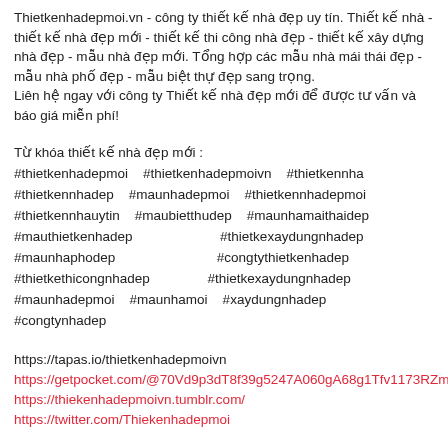Thietkenhadepmoi.vn - công ty thiết kế nhà đẹp uy tín. Thiết kế nhà - thiết kế nhà đẹp mới - thiết kế thi công nhà đẹp - thiết kế xây dựng nhà đẹp - mẫu nhà đẹp mới. Tổng hợp các mẫu nhà mái thái đẹp - mẫu nhà phố đẹp - mẫu biệt thự đẹp sang trọng.
Liên hệ ngay với công ty Thiết kế nhà đẹp mới để được tư vấn và báo giá miễn phí!
Từ khóa thiết kế nhà đẹp mới :
#thietkenhadepmoi  #thietkenhadepmoivn  #thietkennha
#thietkennhadep  #maunhadepmoi  #thietkennhadepmoi
#thietkennhauytin  #maubietthudep  #maunhamaithaidep
#mauthietkenhadep                #thietkexaydungnhadep
#maunhaphodep                    #congtythietkenhadep
#thietkethicongnhadep            #thietkexaydungnhadep
#maunhadepmoi  #maunhamoi  #xaydungnhadep
#congtynhadep
https://tapas.io/thietkenhadepmoivn
https://getpocket.com/@70Vd9p3dT8f39g5247A060gA68g1Tfv1173RZmbd08u818x4bO834il7D81Klz09
https://thiekenhadepmoivn.tumblr.com/
https://twitter.com/Thiekenhadepmoi